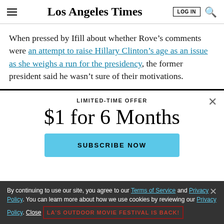Los Angeles Times
When pressed by Ifill about whether Rove's comments were an attempt to raise Hillary Clinton's age as an issue as she weighs a run for the presidency, the former president said he wasn't sure of their motivations.
LIMITED-TIME OFFER
$1 for 6 Months
SUBSCRIBE NOW
By continuing to use our site, you agree to our Terms of Service and Privacy Policy. You can learn more about how we use cookies by reviewing our Privacy Policy. Close
LA'S OUTDOOR MOVIE FESTIVAL IS BACK!